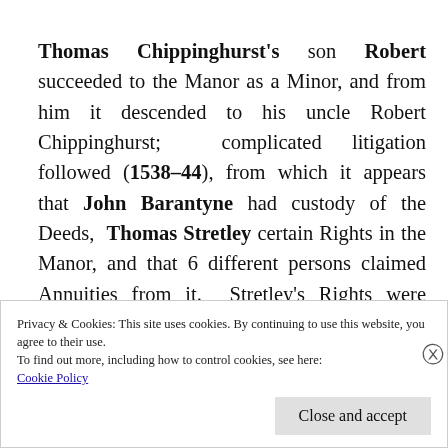Thomas Chippinghurst's son Robert succeeded to the Manor as a Minor, and from him it descended to his uncle Robert Chippinghurst; complicated litigation followed (1538–44), from which it appears that John Barantyne had custody of the Deeds, Thomas Stretley certain Rights in the Manor, and that 6 different persons claimed Annuities from it. Stretley's Rights were acquired in 1563 by
Privacy & Cookies: This site uses cookies. By continuing to use this website, you agree to their use.
To find out more, including how to control cookies, see here:
Cookie Policy